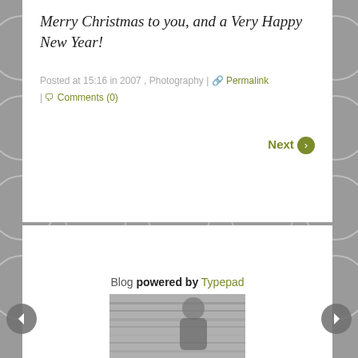Merry Christmas to you, and a Very Happy New Year!
Posted at 15:16 in 2007 , Photography | Permalink | Comments (0)
Next
Blog powered by Typepad
Member since 08/2004
[Figure (photo): Black and white photo preview at the bottom of the page]